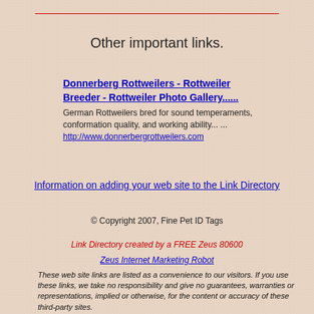Other important links.
Donnerberg Rottweilers - Rottweiler Breeder - Rottweiler Photo Gallery......
German Rottweilers bred for sound temperaments, conformation quality, and working ability... ...
http://www.donnerbergrottweilers.com
Information on adding your web site to the Link Directory
© Copyright 2007, Fine Pet ID Tags
Link Directory created by a FREE Zeus 80600
Zeus Internet Marketing Robot
These web site links are listed as a convenience to our visitors. If you use these links, we take no responsibility and give no guarantees, warranties or representations, implied or otherwise, for the content or accuracy of these third-party sites.